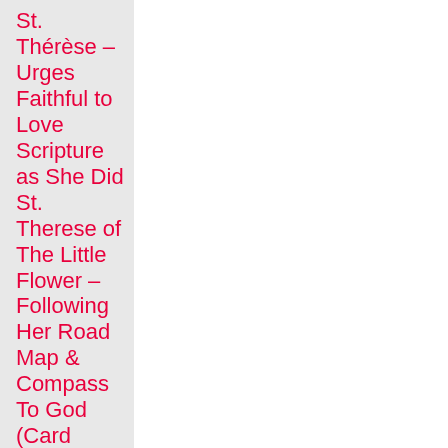St. Thérèse – Urges Faithful to Love Scripture as She Did St. Therese of The Little Flower – Following Her Road Map & Compass To God (Card Sean Titular Chrch)